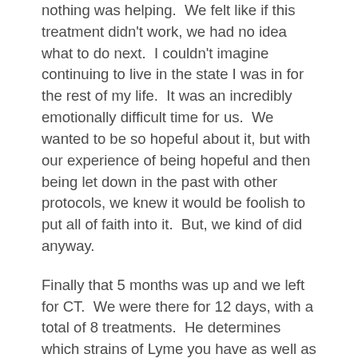nothing was helping.  We felt like if this treatment didn't work, we had no idea what to do next.  I couldn't imagine continuing to live in the state I was in for the rest of my life.  It was an incredibly emotionally difficult time for us.  We wanted to be so hopeful about it, but with our experience of being hopeful and then being let down in the past with other protocols, we knew it would be foolish to put all of faith into it.  But, we kind of did anyway.
Finally that 5 months was up and we left for CT.  We were there for 12 days, with a total of 8 treatments.  He determines which strains of Lyme you have as well as which coinfections (when you get bit by a tick, you do not get just Lyme borrelia, you also get other infections that they carry like Bartonella, Babesia, etc).  I had 14 strains of Lyme of both stage 1 and stage 2, and 7 coinfections, including Babesia and Rocky Mountain Spotted Fever.  He said that of the strains that I tested positive for, some